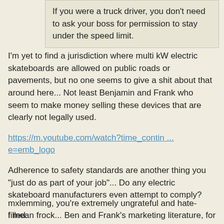If you were a truck driver, you don't need to ask your boss for permission to stay under the speed limit.
I'm yet to find a jurisdiction where multi kW electric skateboards are allowed on public roads or pavements, but no one seems to give a shit about that around here... Not least Benjamin and Frank who seem to make money selling these devices that are clearly not legally used.
https://m.youtube.com/watch?time_contin ... e=emb_logo
Adherence to safety standards are another thing you "just do as part of your job"... Do any electric skateboard manufacturers even attempt to comply?
I mean frock... Ben and Frank's marketing literature, for illegal/illegally used products is full of activity that's not only illegal but poses immediate danger to the general public. But their GPL is being violated by releasing a compiled binary?
Cry me a river.
mxlemming, you're extremely ungrateful and hate-filled.